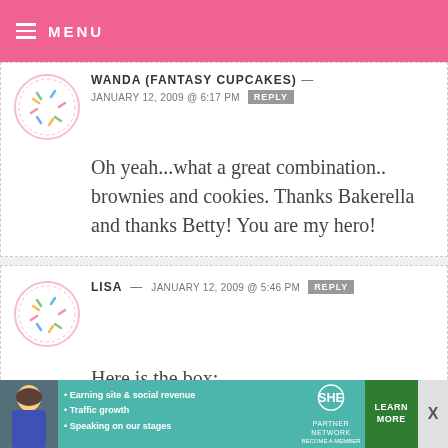MENU
WANDA (FANTASY CUPCAKES) — JANUARY 12, 2009 @ 6:17 PM REPLY
Oh yeah...what a great combination.. brownies and cookies. Thanks Bakerella and thanks Betty! You are my hero!
LISA — JANUARY 12, 2009 @ 5:46 PM REPLY
Here is the box:
https://www.wegmans.com/prodimg/9
[Figure (infographic): SHE Partner Network advertisement banner with woman photo, bullet points about earning site revenue, traffic growth, speaking on stages, SHE logo, and Learn More button]